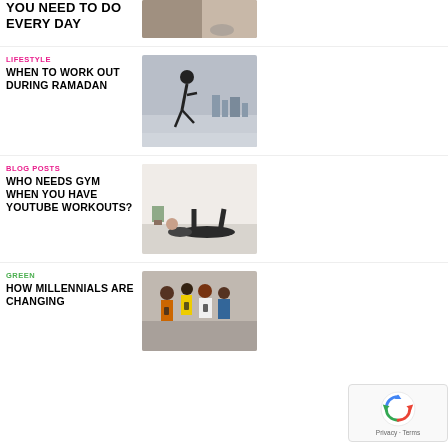YOU NEED TO DO EVERY DAY
[Figure (photo): Person exercising outdoors]
LIFESTYLE
WHEN TO WORK OUT DURING RAMADAN
[Figure (photo): Man running on rooftop with city skyline]
BLOG POSTS
WHO NEEDS GYM WHEN YOU HAVE YOUTUBE WORKOUTS?
[Figure (photo): Person doing floor workout exercise]
GREEN
HOW MILLENNIALS ARE CHANGING
[Figure (photo): Group of young people looking at phones]